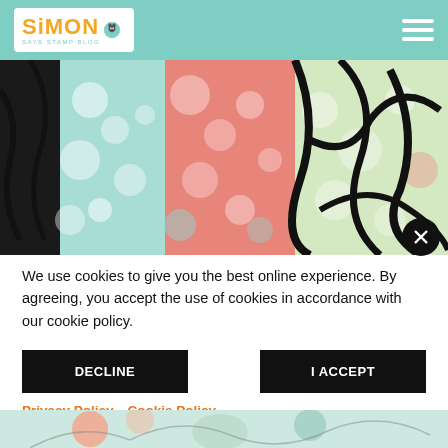Simon Says Stamp Blog - header navigation
[Figure (photo): Close-up abstract art photo showing colorful painted textures with coral/pink, teal/mint, and black swirling patterns on paper panels.]
We use cookies to give you the best online experience. By agreeing, you accept the use of cookies in accordance with our cookie policy.
DECLINE   I ACCEPT
Privacy Policy   Cookie Policy
[Figure (photo): Partial bottom strip of another photo showing green and circular art elements.]